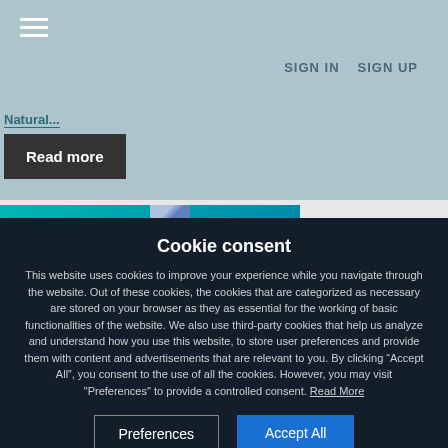[Figure (screenshot): Website header with hamburger menu icon (three horizontal white lines) on a muted teal/blue-grey background]
SIGN IN   SIGN UP
Natural...
Read more
[Figure (screenshot): Partial teal banner with gem/crystal graphic]
Cookie consent
This website uses cookies to improve your experience while you navigate through the website. Out of these cookies, the cookies that are categorized as necessary are stored on your browser as they as essential for the working of basic functionalities of the website. We also use third-party cookies that help us analyze and understand how you use this website, to store user preferences and provide them with content and advertisements that are relevant to you. By clicking “Accept All”, you consent to the use of all the cookies. However, you may visit "Preferences" to provide a controlled consent. Read More
Preferences
Accept All